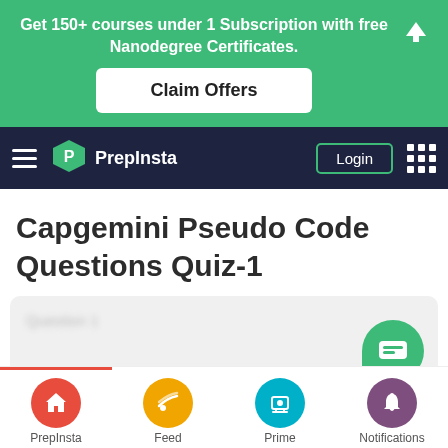[Figure (screenshot): Green promotional banner with text 'Get 150+ courses under 1 Subscription with free Nanodegree Certificates.' and a 'Claim Offers' button, with an up-arrow icon on the right.]
[Figure (screenshot): PrepInsta navigation bar with hamburger menu, green hexagon logo, Login button, and dots grid icon.]
Capgemini Pseudo Code Questions Quiz-1
[Figure (screenshot): Quiz card area with blurred 'Question 1' text, a green chat bubble icon, blurred Google logo area, and a red underline bar.]
[Figure (screenshot): Bottom navigation bar with PrepInsta (home, red), Feed (orange), Prime (teal), Notifications (purple) icons.]